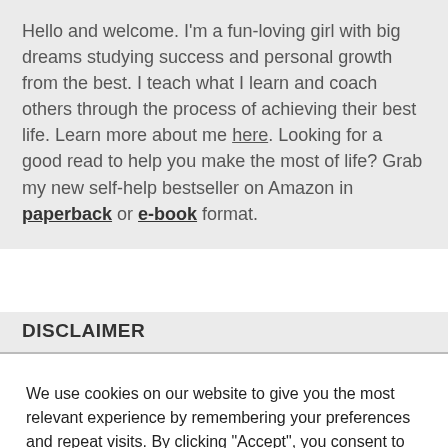Hello and welcome. I'm a fun-loving girl with big dreams studying success and personal growth from the best. I teach what I learn and coach others through the process of achieving their best life. Learn more about me here. Looking for a good read to help you make the most of life? Grab my new self-help bestseller on Amazon in paperback or e-book format.
DISCLAIMER
We use cookies on our website to give you the most relevant experience by remembering your preferences and repeat visits. By clicking "Accept", you consent to the use of ALL the cookies.
Cookie settings   ACCEPT